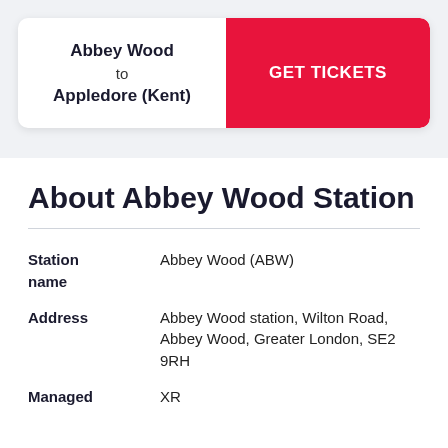Abbey Wood to Appledore (Kent)
GET TICKETS
About Abbey Wood Station
| Field | Value |
| --- | --- |
| Station name | Abbey Wood (ABW) |
| Address | Abbey Wood station, Wilton Road, Abbey Wood, Greater London, SE2 9RH |
| Managed | XR |